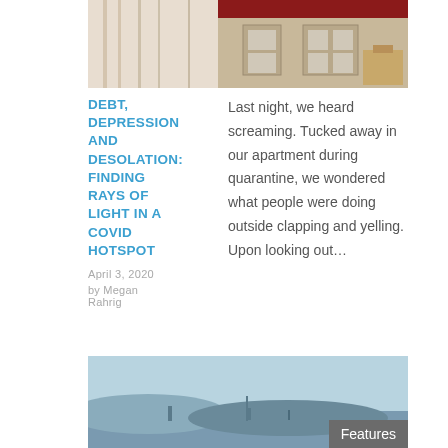[Figure (photo): Top photo showing interior hallway/corridor with cream walls and red awning exterior building visible]
DEBT, DEPRESSION AND DESOLATION: FINDING RAYS OF LIGHT IN A COVID HOTSPOT
April 3, 2020
by Megan Rahrig
Last night, we heard screaming. Tucked away in our apartment during quarantine, we wondered what people were doing outside clapping and yelling. Upon looking out…
[Figure (photo): Bottom photo showing a city skyline or hillside scene under hazy/cloudy blue sky with a 'Features' badge overlay]